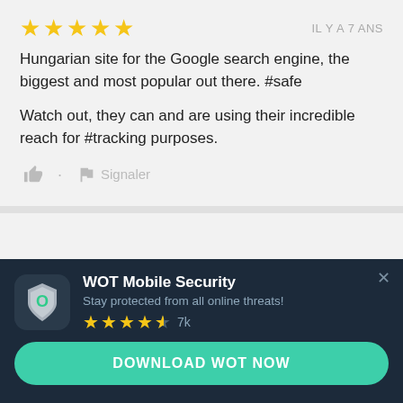[Figure (other): Five yellow star rating icons]
IL Y A 7 ANS
Hungarian site for the Google search engine, the biggest and most popular out there. #safe

Watch out, they can and are using their incredible reach for #tracking purposes.
[Figure (other): Thumbs up icon and flag/report icon with label Signaler]
[Figure (other): WOT Mobile Security app banner with app icon, title, subtitle, 4.5 star rating, 7k reviews, and DOWNLOAD WOT NOW button]